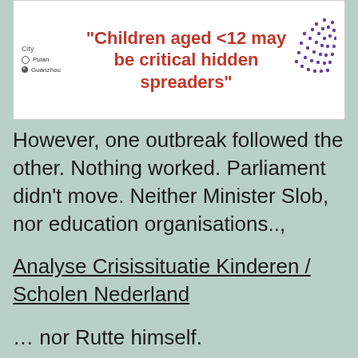[Figure (infographic): White box with legend showing City markers (Pulan, Guanzhou) on the left, and a bold red quote text: "Children aged <12 may be critical hidden spreaders" in the center, with purple dot cluster pattern on the right.]
However, one outbreak followed the other. Nothing worked. Parliament didn't move. Neither Minister Slob, nor education organisations..,
Analyse Crisissituatie Kinderen / Scholen Nederland
… nor Rutte himself.
Persbericht Brief minister-president 8 sept 21
In November/early December came another